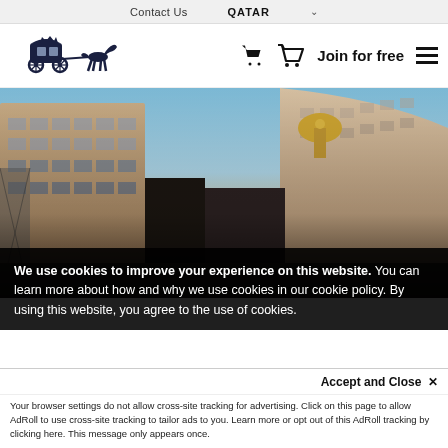Contact Us   QATAR   ▾
[Figure (logo): Horse-drawn carriage silhouette logo in dark navy blue]
Join for free
[Figure (photo): Street-level photo of grand curved neoclassical buildings (Regent Street, London) with blue sky and golden dome]
We use cookies to improve your experience on this website. You can learn more about how and why we use cookies in our cookie policy. By using this website, you agree to the use of cookies.
Accept and Close ✕
Your browser settings do not allow cross-site tracking for advertising. Click on this page to allow AdRoll to use cross-site tracking to tailor ads to you. Learn more or opt out of this AdRoll tracking by clicking here. This message only appears once.